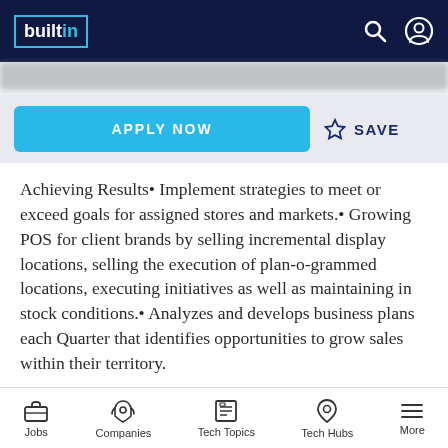builtin — navigation header with search and user icons
APPLY NOW
SAVE
Achieving Results• Implement strategies to meet or exceed goals for assigned stores and markets.• Growing POS for client brands by selling incremental display locations, selling the execution of plan-o-grammed locations, executing initiatives as well as maintaining in stock conditions.• Analyzes and develops business plans each Quarter that identifies opportunities to grow sales within their territory.
Jobs  Companies  Tech Topics  Tech Hubs  More